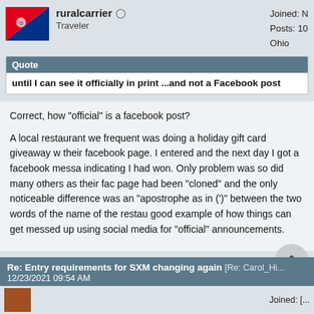ruralcarrier — Traveler | Joined: N... | Posts: 10... | Ohio
Quote
until I can see it officially in print ...and not a Facebook post
Correct, how "official" is a facebook post?
A local restaurant we frequent was doing a holiday gift card giveaway via their facebook page. I entered and the next day I got a facebook message indicating I had won. Only problem was so did many others as their facebook page had been "cloned" and the only noticeable difference was an "apostrophe as in (')'" between the two words of the name of the restaurant. good example of how things can get messed up using social media for "official" announcements.
Re: Entry requirements for SXM changing again [Re: Carol_H...]
12/23/2021 09:54 AM